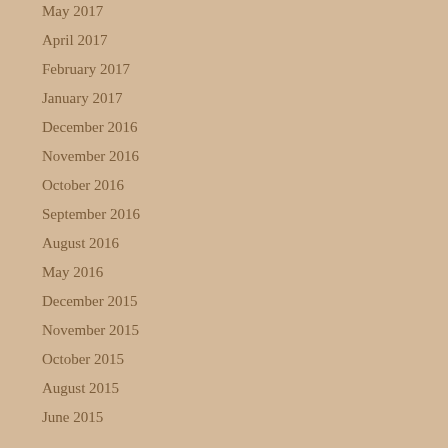May 2017
April 2017
February 2017
January 2017
December 2016
November 2016
October 2016
September 2016
August 2016
May 2016
December 2015
November 2015
October 2015
August 2015
June 2015